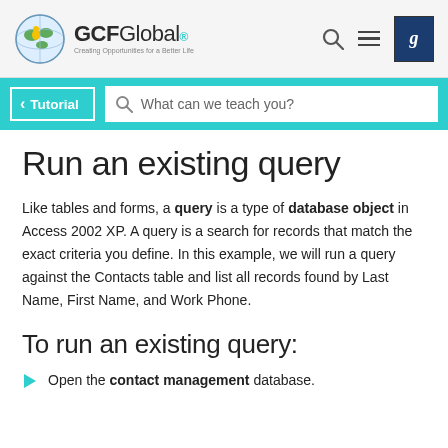GCFGlobal - Creating Opportunities for a Better Life
Run an existing query
Like tables and forms, a query is a type of database object in Access 2002 XP. A query is a search for records that match the exact criteria you define. In this example, we will run a query against the Contacts table and list all records found by Last Name, First Name, and Work Phone.
To run an existing query:
Open the contact management database.